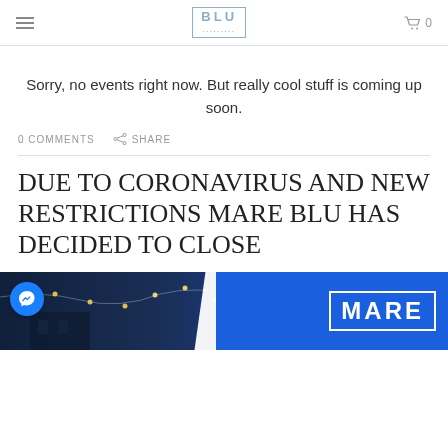BLU
Sorry, no events right now. But really cool stuff is coming up soon.
0 COMMENTS   SHARE
DUE TO CORONAVIRUS AND NEW RESTRICTIONS MARE BLU HAS DECIDED TO CLOSE
[Figure (photo): Image showing outdoor lights at night with MARE BLU logo and a Facebook Messenger icon in the bottom-left corner.]